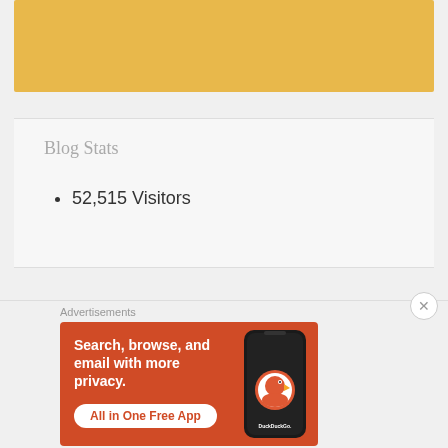[Figure (other): Golden/yellow rectangular banner at the top of the page]
Blog Stats
52,515 Visitors
Advertisements
[Figure (illustration): DuckDuckGo advertisement banner with orange background. Text reads: Search, browse, and email with more privacy. All in One Free App. Shows a smartphone with DuckDuckGo logo.]